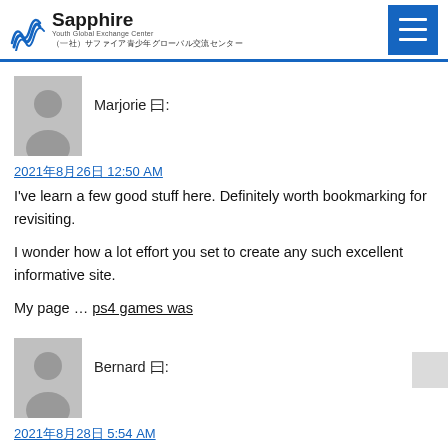Sapphire Youth Global Exchange Center — (一社) サファイア青少年グローバル交流センター
Marjorie 曰:
2021年8月26日 12:50 AM
I've learn a few good stuff here. Definitely worth bookmarking for revisiting.

I wonder how a lot effort you set to create any such excellent informative site.

My page … ps4 games was
Bernard 曰:
2021年8月28日 5:54 AM
Hey there! Do you know if they make any plugins to